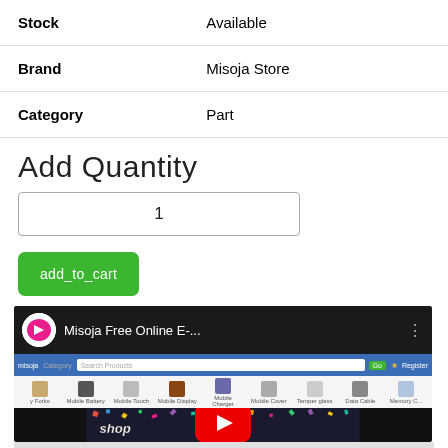| Stock | Available |
| Brand | Misoja Store |
| Category | Part |
Add Quantity
[Figure (screenshot): Quantity input field showing value 1]
[Figure (screenshot): Green add_to_cart button]
[Figure (screenshot): YouTube video thumbnail for Misoja Free Online E- showing Misoja logo, browser screenshot of Misoja store website, and shop online text with YouTube play button]